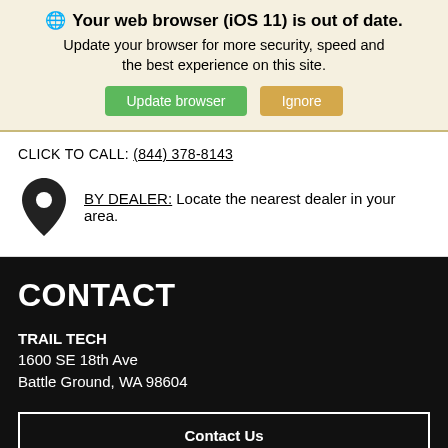🌐 Your web browser (iOS 11) is out of date. Update your browser for more security, speed and the best experience on this site.
Update browser | Ignore
CLICK TO CALL: (844) 378-8143
BY DEALER: Locate the nearest dealer in your area.
CONTACT
TRAIL TECH
1600 SE 18th Ave
Battle Ground, WA 98604
Contact Us
Dealer Locator